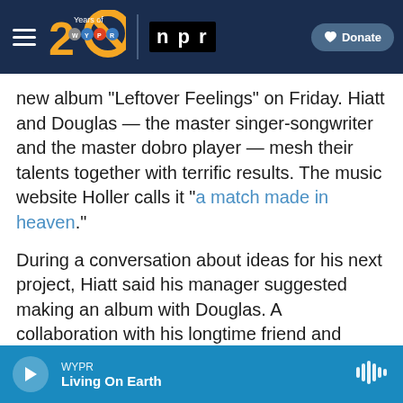WYPR 20 Years of WYPR | NPR | Donate
new album “Leftover Feelings” on Friday. Hiatt and Douglas — the master singer-songwriter and the master dobro player — mesh their talents together with terrific results. The music website Holler calls it “a match made in heaven.”
During a conversation about ideas for his next project, Hiatt said his manager suggested making an album with Douglas. A collaboration with his longtime friend and once-neighbor hadn’t crossed Hiatt’s mind but he loved the idea.
“My manager asked me and I said yes
WYPR | Living On Earth